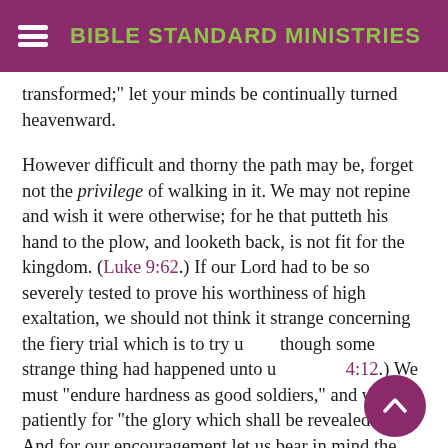BIBLE STANDARD MINISTRIES
transformed;" let your minds be continually turned heavenward.
However difficult and thorny the path may be, forget not the privilege of walking in it. We may not repine and wish it were otherwise; for he that putteth his hand to the plow, and looketh back, is not fit for the kingdom. (Luke 9:62.) If our Lord had to be so severely tested to prove his worthiness of high exaltation, we should not think it strange concerning the fiery trial which is to try us, as though some strange thing had happened unto us. (1 Pet. 4:12.) We must "endure hardness as good soldiers," and wait patiently for "the glory which shall be revealed in us." And for our encouragement let us bear in mind the